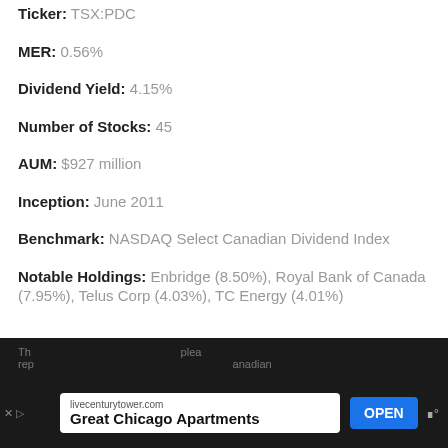Ticker: TSX:PDC
MER: 0.56%
Dividend Yield: 4.15%
Number of Stocks: 45
AUM: $927 million
Inception: June 2011
Benchmark: NASDAQ Select Canadian Dividend Index
Notable Holdings: Enbridge (8.50%), Royal Bank of Canada (7.95%), Telus Corp (4.03%), TC Energy (4.01%)
Th... rep... please ... anadian...